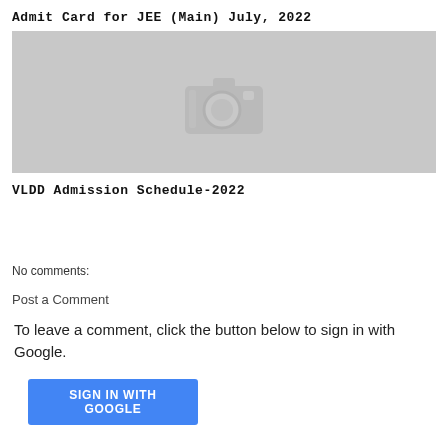Admit Card for JEE (Main) July, 2022
[Figure (photo): Gray placeholder box with camera icon, representing an image placeholder for the admit card or schedule]
VLDD Admission Schedule-2022
No comments:
Post a Comment
To leave a comment, click the button below to sign in with Google.
[Figure (other): SIGN IN WITH GOOGLE button (blue)]